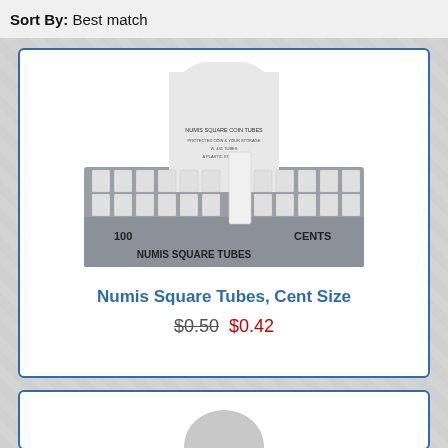Sort By: Best match
[Figure (photo): Box of Numis Square Coin Tubes, Cent Size — a display box showing 100 white square plastic coin tubes with a header card reading NUMIS SQUARE COIN TUBES, labeled 100 CENTS and NUMIS SQUARE TUBES on the front of the box]
Numis Square Tubes, Cent Size
$0.50  $0.42
[Figure (photo): Partial view of a second product card showing the top portion of another coin tube box]